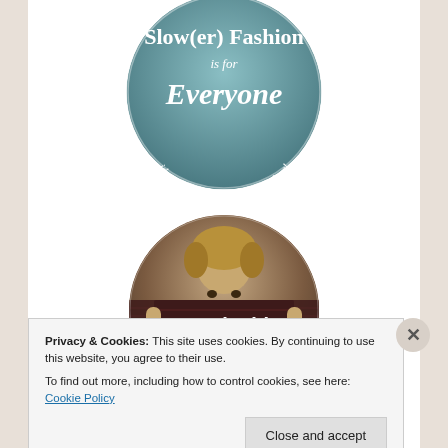[Figure (illustration): Circular badge with teal/blue-gray background and white handwritten-style text reading 'Slow(er) Fashion is for Everyone ideas for every budget and skill level']
[Figure (photo): Circular photo of a woman with curly hair holding up a dark fabric/roll, with white text overlay reading 'Sustainable & Ethical']
Privacy & Cookies: This site uses cookies. By continuing to use this website, you agree to their use.
To find out more, including how to control cookies, see here: Cookie Policy